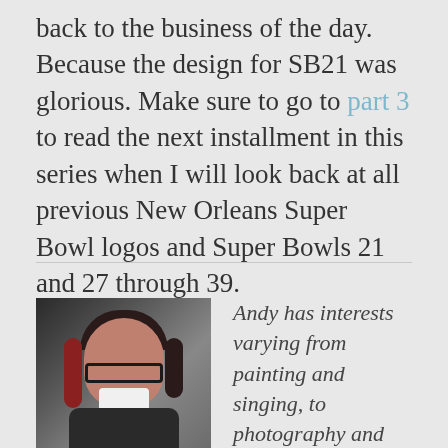back to the business of the day. Because the design for SB21 was glorious. Make sure to go to part 3 to read the next installment in this series when I will look back at all previous New Orleans Super Bowl logos and Super Bowls 21 and 27 through 39.
[Figure (photo): Portrait photo of a person with dark and red hair, glasses, wearing a dark jacket, appears to be taken inside a vehicle]
Andy has interests varying from painting and singing, to photography and prop making.  Pretty much